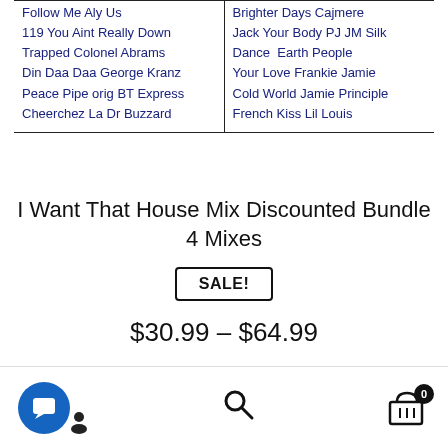| Follow Me Aly Us
119 You Aint Really Down
Trapped Colonel Abrams
Din Daa Daa George Kranz
Peace Pipe orig BT Express
Cheerchez La Dr Buzzard | Brighter Days Cajmere
Jack Your Body PJ JM Silk
Dance Earth People
Your Love Frankie Jamie
Cold World Jamie Principle
French Kiss Lil Louis |
I Want That House Mix Discounted Bundle 4 Mixes
SALE!
$30.99 – $64.99
Select options